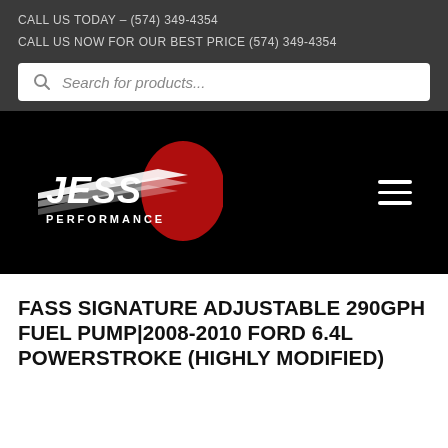CALL US TODAY – (574) 349-4354
CALL US NOW FOR OUR BEST PRICE (574) 349-4354
[Figure (screenshot): Search bar with magnifying glass icon and placeholder text 'Search for products...']
[Figure (logo): Jess Performance logo – white stylized text 'JESS' with red swoosh elements and 'PERFORMANCE' below, on black background]
[Figure (other): Hamburger menu icon (three white horizontal lines) on black background]
FASS SIGNATURE ADJUSTABLE 290GPH FUEL PUMP|2008-2010 FORD 6.4L POWERSTROKE (HIGHLY MODIFIED)